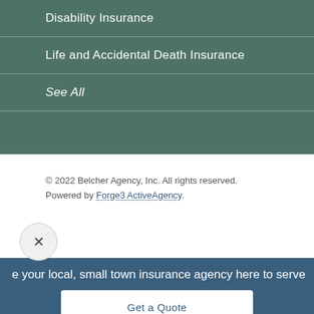Disability Insurance
Life and Accidental Death Insurance
See All
© 2022 Belcher Agency, Inc. All rights reserved.
Powered by Forge3 ActiveAgency.
e your local, small town insurance agency here to serve
Get a Quote
Contact Us